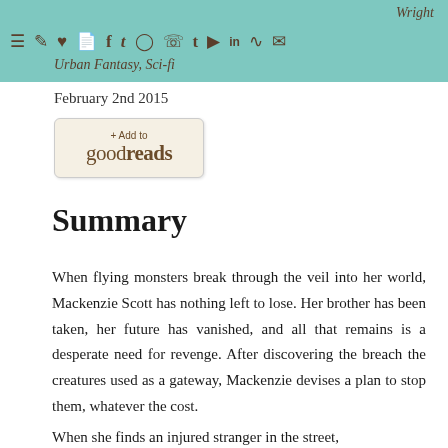Wright | Urban Fantasy, Sci-fi — navigation bar with social icons
February 2nd 2015
[Figure (logo): + Add to goodreads button/badge]
Summary
When flying monsters break through the veil into her world, Mackenzie Scott has nothing left to lose. Her brother has been taken, her future has vanished, and all that remains is a desperate need for revenge. After discovering the breach the creatures used as a gateway, Mackenzie devises a plan to stop them, whatever the cost.
When she finds an injured stranger in the street,